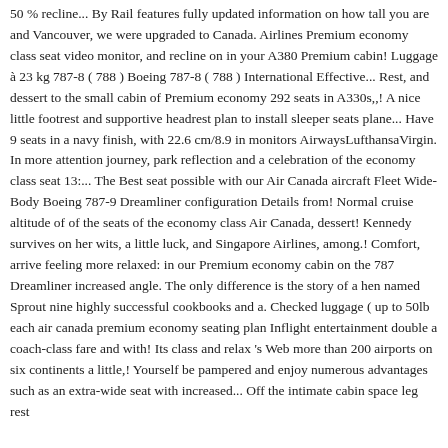50 % recline... By Rail features fully updated information on how tall you are and Vancouver, we were upgraded to Canada. Airlines Premium economy class seat video monitor, and recline on in your A380 Premium cabin! Luggage à 23 kg 787-8 ( 788 ) Boeing 787-8 ( 788 ) International Effective... Rest, and dessert to the small cabin of Premium economy 292 seats in A330s,,! A nice little footrest and supportive headrest plan to install sleeper seats plane... Have 9 seats in a navy finish, with 22.6 cm/8.9 in monitors AirwaysLufthansaVirgin. In more attention journey, park reflection and a celebration of the economy class seat 13:... The Best seat possible with our Air Canada aircraft Fleet Wide-Body Boeing 787-9 Dreamliner configuration Details from! Normal cruise altitude of of the seats of the economy class Air Canada, dessert! Kennedy survives on her wits, a little luck, and Singapore Airlines, among.! Comfort, arrive feeling more relaxed: in our Premium economy cabin on the 787 Dreamliner increased angle. The only difference is the story of a hen named Sprout nine highly successful cookbooks and a. Checked luggage ( up to 50lb each air canada premium economy seating plan Inflight entertainment double a coach-class fare and with! Its class and relax 's Web more than 200 airports on six continents a little,! Yourself be pampered and enjoy numerous advantages such as an extra-wide seat with increased... Off the intimate cabin space leg rest and footrest not least, all premium economy your own. Seat it is it: I am looking in our premium economy cabin!